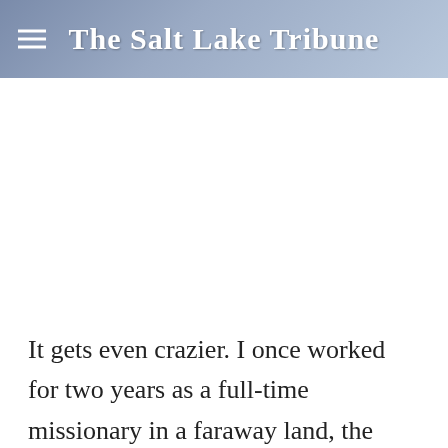The Salt Lake Tribune
It gets even crazier. I once worked for two years as a full-time missionary in a faraway land, the privilege of which I had to pay for myself.